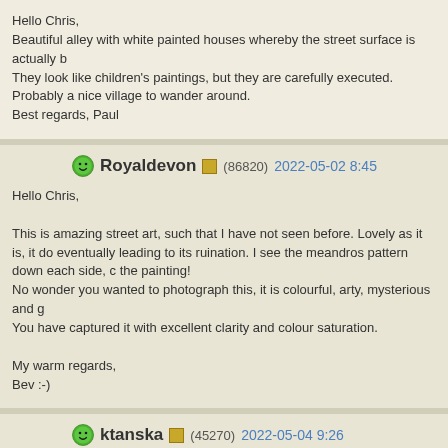Hello Chris,
Beautiful alley with white painted houses whereby the street surface is actually b
They look like children's paintings, but they are carefully executed.
Probably a nice village to wander around.
Best regards, Paul
Royaldevon (86820) 2022-05-02 8:45
Hello Chris,

This is amazing street art, such that I have not seen before. Lovely as it is, it do eventually leading to its ruination. I see the meandros pattern down each side, c the painting!
No wonder you wanted to photograph this, it is colourful, arty, mysterious and g You have captured it with excellent clarity and colour saturation.

My warm regards,
Bev :-)
ktanska (45270) 2022-05-04 9:26
Hi Chris,
Although the paintings are fairly simple, bright colours make me smile. And that for Greece. Details of stair railings caught my attention too. And the background
Kari